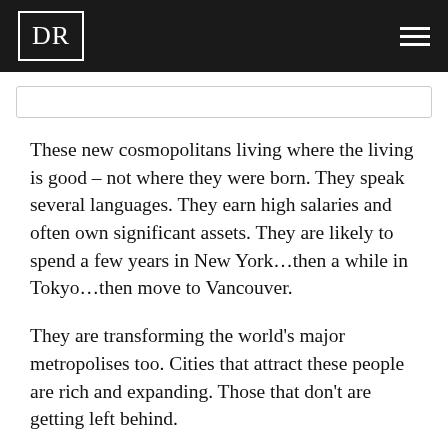DR
These new cosmopolitans living where the living is good – not where they were born. They speak several languages. They earn high salaries and often own significant assets. They are likely to spend a few years in New York…then a while in Tokyo…then move to Vancouver.
They are transforming the world's major metropolises too. Cities that attract these people are rich and expanding. Those that don't are getting left behind.
But what does it mean when a substantial part of a capital city's population is not connected to the